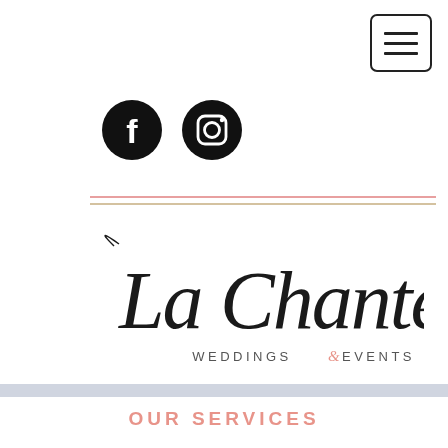[Figure (illustration): Hamburger menu button icon — three horizontal lines inside a rounded rectangle border]
[Figure (illustration): Two circular social media icons: Facebook (f logo) and Instagram (camera logo), both black circles with white icons]
[Figure (logo): La Chantel Weddings & Events logo — cursive/script black text reading 'La Chantel' with 'WEDDINGS & EVENTS' in spaced serif capitals below, the ampersand in salmon/pink]
OUR SERVICES
We offer many packages that can be tailored to your specific needs. Our services include a variety of design